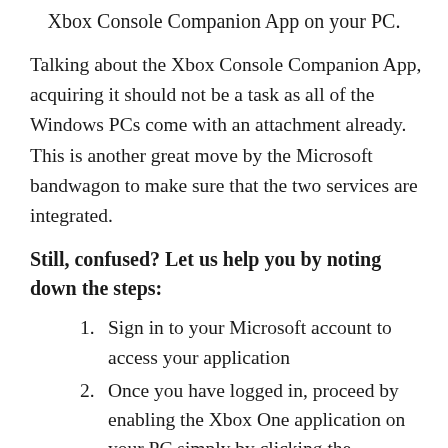Xbox Console Companion App on your PC.
Talking about the Xbox Console Companion App, acquiring it should not be a task as all of the Windows PCs come with an attachment already. This is another great move by the Microsoft bandwagon to make sure that the two services are integrated.
Still, confused? Let us help you by noting down the steps:
Sign in to your Microsoft account to access your application
Once you have logged in, proceed by enabling the Xbox One application on your PC simply by clicking the Connection button.
To find the connection button, check the...